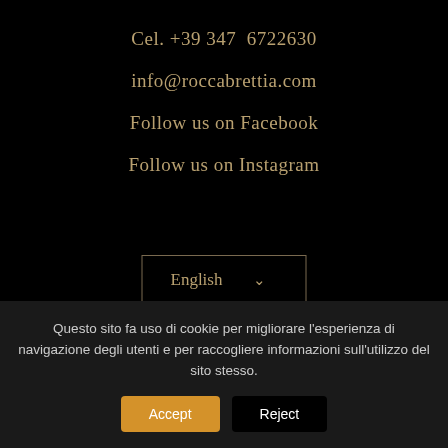Cel. +39 347  6722630
info@roccabrettia.com
Follow us on Facebook
Follow us on Instagram
English
Questo sito fa uso di cookie per migliorare l'esperienza di navigazione degli utenti e per raccogliere informazioni sull'utilizzo del sito stesso.
Accept
Reject